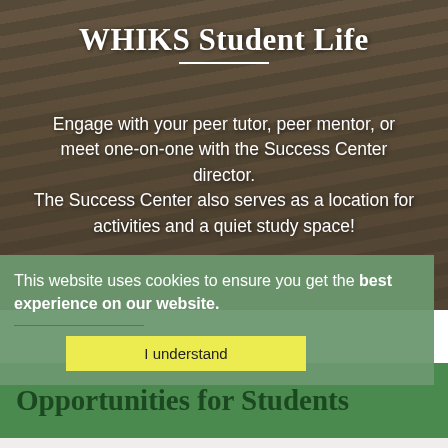[Figure (photo): Aerial/overhead view of students on a staircase with wooden floors and black metal railings, serving as background for WHIKS Student Life page]
WHIKS Student Life
Engage with your peer tutor, peer mentor, or meet one-on-one with the Success Center director.
The Success Center also serves as a location for activities and a quiet study space!
This website uses cookies to ensure you get the best experience on our website.
I understand
Opportunities for Students